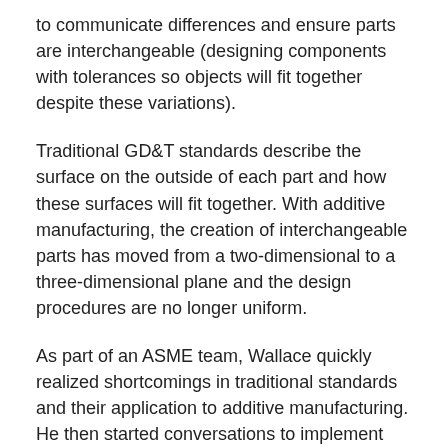to communicate differences and ensure parts are interchangeable (designing components with tolerances so objects will fit together despite these variations).
Traditional GD&T standards describe the surface on the outside of each part and how these surfaces will fit together. With additive manufacturing, the creation of interchangeable parts has moved from a two-dimensional to a three-dimensional plane and the design procedures are no longer uniform.
As part of an ASME team, Wallace quickly realized shortcomings in traditional standards and their application to additive manufacturing. He then started conversations to implement modern processes capable of evolving with this new